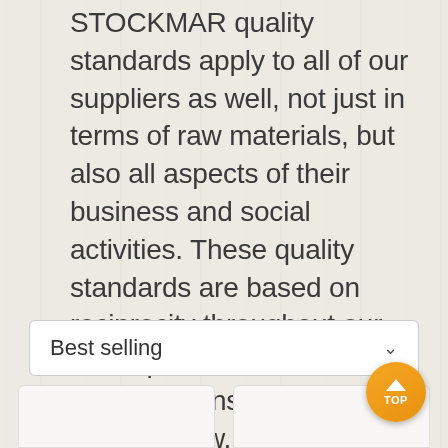STOCKMAR quality standards apply to all of our suppliers as well, not just in terms of raw materials, but also all aspects of their business and social activities. These quality standards are based on reciprocity throughout our entire partner network. We maintain constant dialog to develop new, improved products together. This enables us to live up to our quality standards and move forward as a company.
[Figure (screenshot): A dropdown/select UI element showing 'Best selling' with a chevron arrow on the right, styled with white background and rounded border.]
[Figure (screenshot): Two white product card panels side by side at the bottom of the page, partially visible. A circular orange 'TOP' button with an upward arrow is overlaid in the bottom-right corner.]